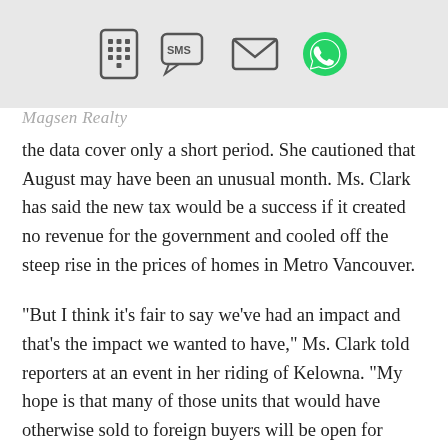[App sharing icons: phone keypad, SMS, email, WhatsApp]
Magsen Realty
the data cover only a short period. She cautioned that August may have been an unusual month. Ms. Clark has said the new tax would be a success if it created no revenue for the government and cooled off the steep rise in the prices of homes in Metro Vancouver.

“But I think it’s fair to say we’ve had an impact and that’s the impact we wanted to have,” Ms. Clark told reporters at an event in her riding of Kelowna. “My hope is that many of those units that would have otherwise sold to foreign buyers will be open for British Columbians to buy.” But Tom Davidoff, an economist and professor at University of B.C., said if foreign buyers really di...